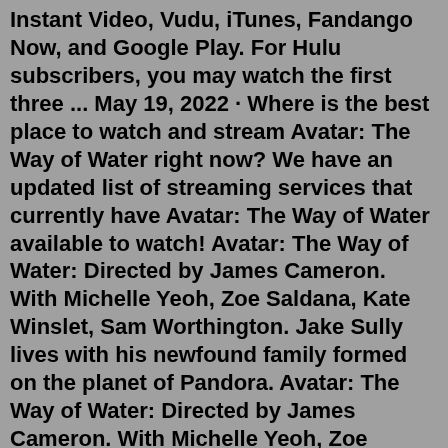Instant Video, Vudu, iTunes, Fandango Now, and Google Play. For Hulu subscribers, you may watch the first three ... May 19, 2022 · Where is the best place to watch and stream Avatar: The Way of Water right now? We have an updated list of streaming services that currently have Avatar: The Way of Water available to watch! Avatar: The Way of Water: Directed by James Cameron. With Michelle Yeoh, Zoe Saldana, Kate Winslet, Sam Worthington. Jake Sully lives with his newfound family formed on the planet of Pandora. Avatar: The Way of Water: Directed by James Cameron. With Michelle Yeoh, Zoe Saldana, Kate Winslet, Sam Worthington. Jake Sully lives with his newfound family formed on the planet of Pandora. MORE Stream Avatars Tutorials are out! And more will come! Check the playlist for all of them: https://www.youtube.com/playlist?list=PLUQ6SgubJEZBkOFV4GK3q55...Avatar: The Way of Water: Directed by James Cameron. With Michelle Yeoh, Zoe Saldana, Kate Winslet, Sam Worthington. Jake Sully lives with his newfound